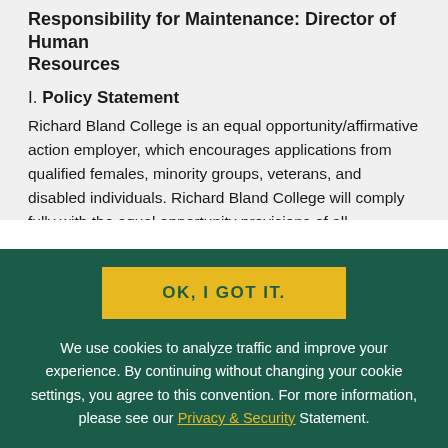Responsibility for Maintenance: Director of Human Resources
I. Policy Statement
Richard Bland College is an equal opportunity/affirmative action employer, which encourages applications from qualified females, minority groups, veterans, and disabled individuals. Richard Bland College will comply fully with the equal opportunity provisions of all applicable laws, regulations, and policies and will not discriminate against
[Figure (screenshot): Cookie consent overlay with yellow OK button and text about cookie usage policy on dark green background]
OK, I GOT IT.
We use cookies to analyze traffic and improve your experience. By continuing without changing your cookie settings, you agree to this convention. For more information, please see our Privacy & Security Statement.